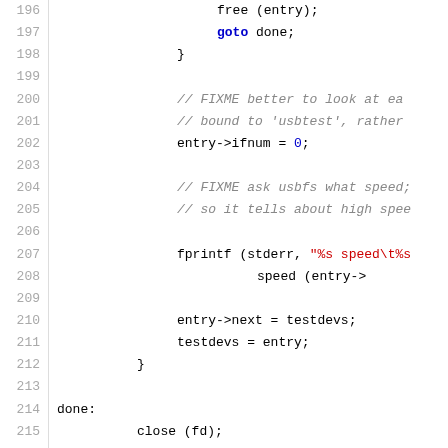Source code listing, lines 196-226, C language USB device code